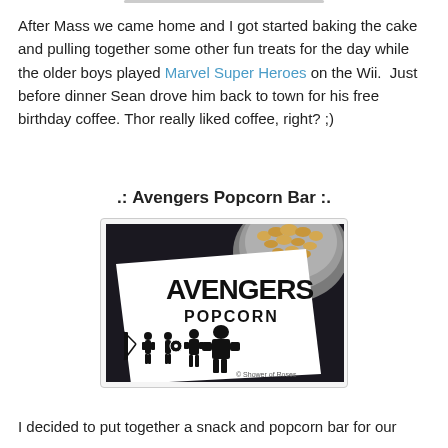After Mass we came home and I got started baking the cake and pulling together some other fun treats for the day while the older boys played Marvel Super Heroes on the Wii.  Just before dinner Sean drove him back to town for his free birthday coffee. Thor really liked coffee, right? ;)
.: Avengers Popcorn Bar :.
[Figure (photo): Photo of an Avengers Popcorn label/card placed in front of a metal bowl of popcorn. The label shows Marvel Avengers hero silhouettes and the text 'AVENGERS POPCORN'. Watermark reads '© Shower of Roses'.]
I decided to put together a snack and popcorn bar for our